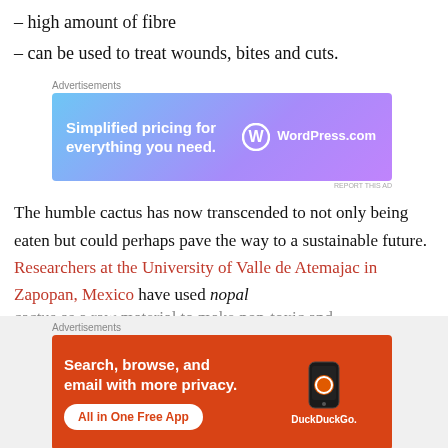– high amount of fibre
– can be used to treat wounds, bites and cuts.
[Figure (screenshot): Advertisement banner for WordPress.com: 'Simplified pricing for everything you need.' with WordPress logo on a blue-purple gradient background.]
The humble cactus has now transcended to not only being eaten but could perhaps pave the way to a sustainable future. Researchers at the University of Valle de Atemajac in Zapopan, Mexico have used nopal cactus as a raw material to make non-toxic and...
[Figure (screenshot): Advertisement banner for DuckDuckGo: 'Search, browse, and email with more privacy. All in One Free App' on an orange background with a phone image and DuckDuckGo logo.]